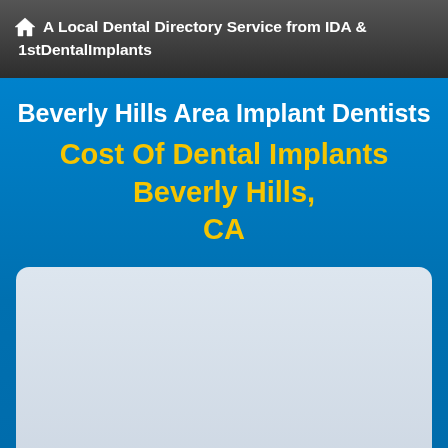🏠 A Local Dental Directory Service from IDA & 1stDentalImplants
Beverly Hills Area Implant Dentists
Cost Of Dental Implants Beverly Hills, CA
[Figure (other): Empty light blue-grey rounded content box placeholder]